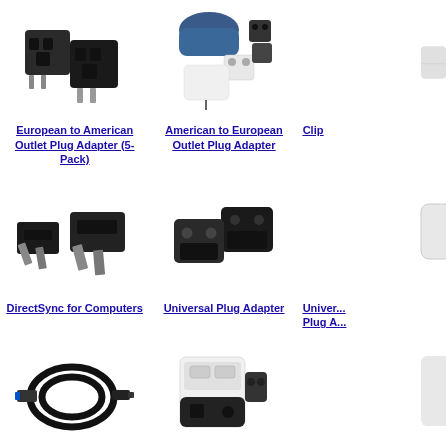[Figure (photo): Two black European to American outlet plug adapters]
European to American Outlet Plug Adapter (5-Pack)
[Figure (photo): American to European outlet plug adapter set with carrying pouches]
American to European Outlet Plug Adapter
[Figure (photo): Partially visible product image on right edge]
Clip...
[Figure (photo): Two black American to European outlet plug adapters with round prongs]
DirectSync for Computers
[Figure (photo): Two black European style two-prong outlet plug adapters]
Universal Plug Adapter
[Figure (photo): Partially visible product on right edge]
Univer... Plug A...
[Figure (photo): Black USB cable coiled on white background]
[Figure (photo): White and black universal plug adapter with dual USB ports]
[Figure (photo): Partially visible product on right edge bottom]